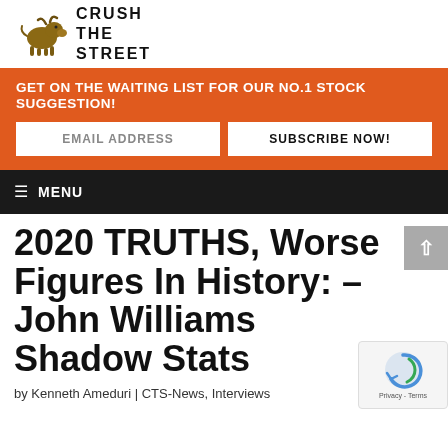[Figure (logo): Crush The Street logo with a bull statue on the left and stylized text 'CRUSH THE STREET' on the right]
GET ON THE WAITING LIST FOR OUR NO.1 STOCK SUGGESTION!
EMAIL ADDRESS
SUBSCRIBE NOW!
≡ MENU
2020 TRUTHS, Worse Figures In History: – John Williams Shadow Stats
by Kenneth Ameduri | CTS-News, Interviews